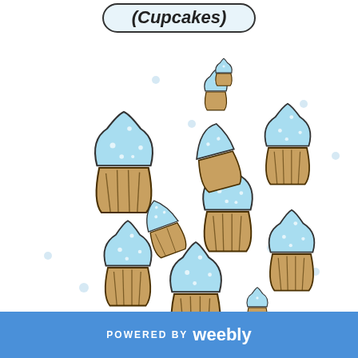(Cupcakes)
[Figure (illustration): Multiple hand-drawn cartoon cupcakes with blue frosting and tan/brown wrapper scattered across white background, with small blue dots scattered throughout. Cupcakes vary in size and orientation.]
POWERED BY Weebly